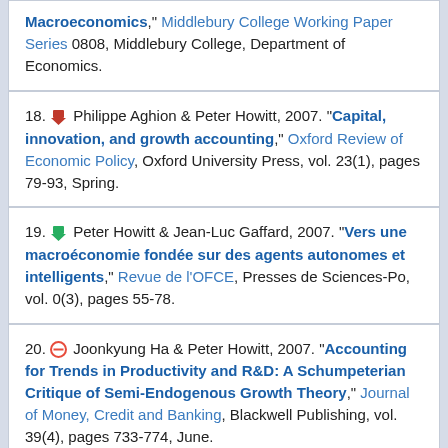Macroeconomics," Middlebury College Working Paper Series 0808, Middlebury College, Department of Economics.
18. [download] Philippe Aghion & Peter Howitt, 2007. "Capital, innovation, and growth accounting," Oxford Review of Economic Policy, Oxford University Press, vol. 23(1), pages 79-93, Spring.
19. [download] Peter Howitt & Jean-Luc Gaffard, 2007. "Vers une macroéconomie fondée sur des agents autonomes et intelligents," Revue de l'OFCE, Presses de Sciences-Po, vol. 0(3), pages 55-78.
20. [restricted] Joonkyung Ha & Peter Howitt, 2007. "Accounting for Trends in Productivity and R&D: A Schumpeterian Critique of Semi-Endogenous Growth Theory," Journal of Money, Credit and Banking, Blackwell Publishing, vol. 39(4), pages 733-774, June.